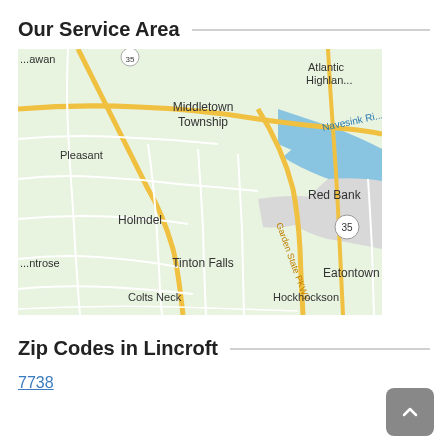Our Service Area
[Figure (map): Google Maps style map showing service area around Lincroft/Red Bank, NJ. Visible locations include Atlantic Highlands, Middletown Township, Pleasant, Navesink River, Holmdel, Red Bank, Garden State Pkwy, Tinton Falls, Eatontown, Colts Neck, Hockhockson, Montrose, and route 35.]
Zip Codes in Lincroft
7738